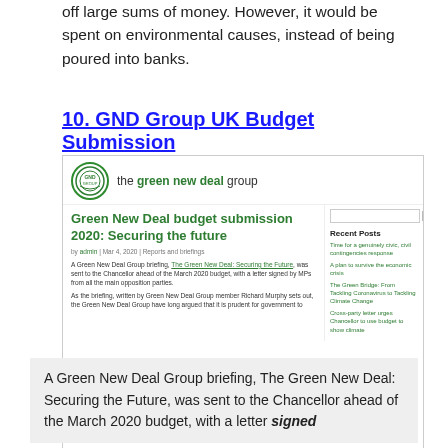off large sums of money. However, it would be spent on environmental causes, instead of being poured into banks.
10. GND Group UK Budget Submission
[Figure (screenshot): Screenshot of the Green New Deal Group website showing a blog post titled 'Green New Deal budget submission 2020: Securing the future', dated Mar 4, 2020, with sidebar showing Recent Posts including 'Time for a genuinely civic, civil contingencies response', 'A plan to survive the economic crisis', 'The Green Bridge: From Tackling Coronavirus to Tackling Climate Change', 'Cross-party letter urges Chancellor to use budget to show climate']
A Green New Deal Group briefing, The Green New Deal: Securing the Future, was sent to the Chancellor ahead of the March 2020 budget, with a letter signed